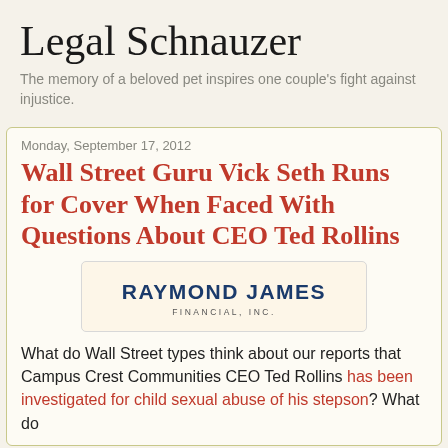Legal Schnauzer
The memory of a beloved pet inspires one couple's fight against injustice.
Monday, September 17, 2012
Wall Street Guru Vick Seth Runs for Cover When Faced With Questions About CEO Ted Rollins
[Figure (logo): Raymond James Financial, Inc. logo — dark blue bold text on cream/beige background]
What do Wall Street types think about our reports that Campus Crest Communities CEO Ted Rollins has been investigated for child sexual abuse of his stepson? What do